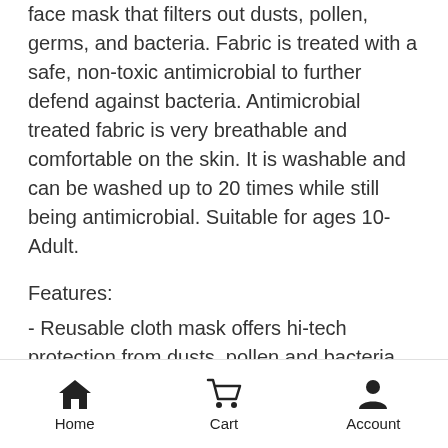face mask that filters out dusts, pollen, germs, and bacteria. Fabric is treated with a safe, non-toxic antimicrobial to further defend against bacteria. Antimicrobial treated fabric is very breathable and comfortable on the skin. It is washable and can be washed up to 20 times while still being antimicrobial. Suitable for ages 10-Adult.
Features:
- Reusable cloth mask offers hi-tech protection from dusts, pollen and bacteria
- Antimicrobial treatment keeps germs out and lasts for the life of the mask
- Made of 95% soft cotton /5% spandex
- Breathable and comfortable on skin
- Retains efficiency and antibacterial properties through repeated washings (up to 20 washes)
Home  Cart  Account